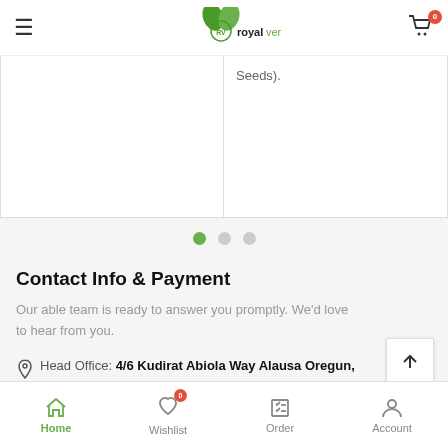royal vertrag — navigation header with menu, logo, and cart (0 items)
[Figure (screenshot): Partial view of a two-column card with text 'Seeds).' on the right panel and empty left panel, with carousel dot indicators below (3 dots, first active green)]
Contact Info & Payment
Our able team is ready to answer you promptly. We'd love to hear from you.
Head Office: 4/6 Kudirat Abiola Way Alausa Oregun,
Bottom navigation: Home (active), Wishlist (0), Order, Account